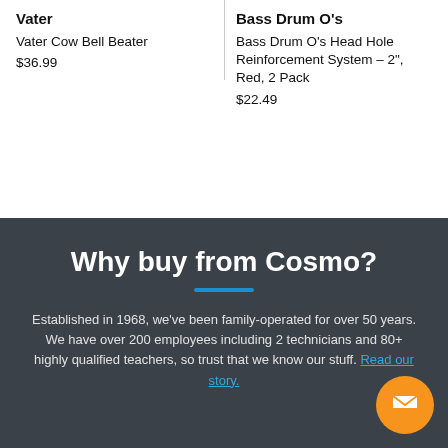Vater
Vater Cow Bell Beater
$36.99
Bass Drum O's
Bass Drum O's Head Hole Reinforcement System - 2", Red, 2 Pack
$22.49
Why buy from Cosmo?
Established in 1968, we've been family-operated for over 50 years. We have over 200 employees including 2 technicians and 80+ highly qualified teachers, so trust that we know our stuff. Read our story.